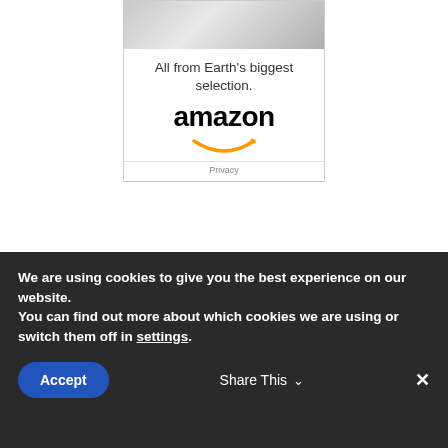[Figure (advertisement): Amazon advertisement banner with grayscale product image at top, tagline 'All from Earth's biggest selection.' and Amazon logo with smile arrow, ending with Privacy link]
Recent Posts:
We are using cookies to give you the best experience on our website.
You can find out more about which cookies we are using or switch them off in settings.
Accept
Share This
×